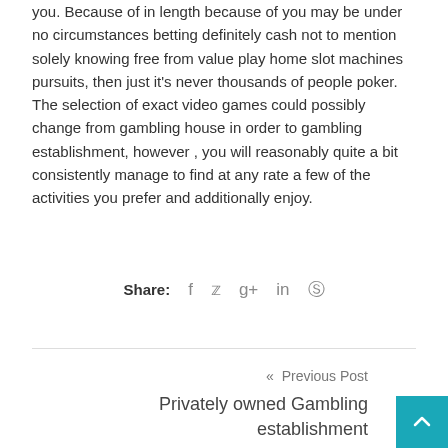you. Because of in length because of you may be under no circumstances betting definitely cash not to mention solely knowing free from value play home slot machines pursuits, then just it's never thousands of people poker. The selection of exact video games could possibly change from gambling house in order to gambling establishment, however , you will reasonably quite a bit consistently manage to find at any rate a few of the activities you prefer and additionally enjoy.
Share: f y g+ in p
« Previous Post
Privately owned Gambling establishment